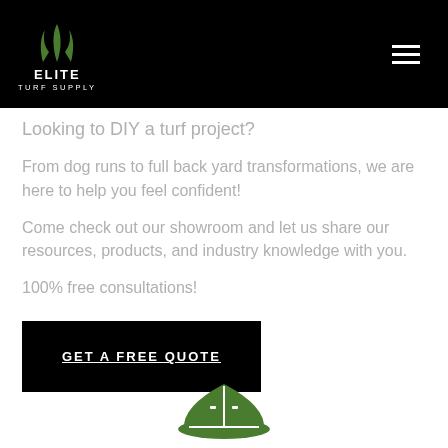ELITE TURF SUPPLY
Looking to DIY a turf project?
From dog runs to full back yard transformations, we are here to help you feel confident!
Come check out our showroom and let us share our resources, products, and industry knowledge with you.
100% free consultations!
GET A FREE QUOTE
[Figure (illustration): Green construction/hard hat icon partially visible at bottom of page]